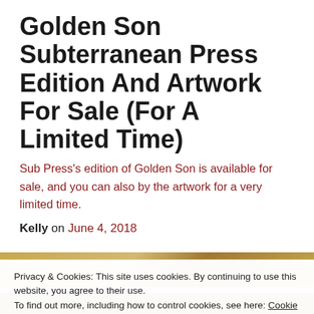Golden Son Subterranean Press Edition And Artwork For Sale (For A Limited Time)
Sub Press's edition of Golden Son is available for sale, and you can also by the artwork for a very limited time.
Kelly on June 4, 2018
[Figure (photo): Partial view of book cover art with golden tones, partially obscured by cookie consent overlay]
Privacy & Cookies: This site uses cookies. By continuing to use this website, you agree to their use.
To find out more, including how to control cookies, see here: Cookie Policy
Close and accept